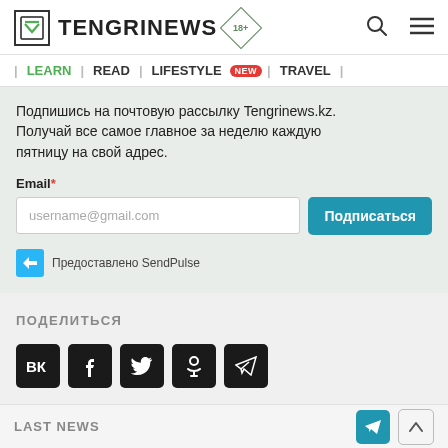TENGRINEWS 18+
| LEARN | READ | LIFESTYLE NEW | TRAVEL |
Подпишись на почтовую рассылку Tengrinews.kz. Получай все самое главное за неделю каждую пятницу на свой адрес.
Email* username@gmail.com Подписаться
Предоставлено SendPulse
ПОДЕЛИТЬСЯ
[Figure (other): Social media share icons: VK, Facebook, Twitter, Odnoklassniki, Telegram]
LAST NEWS